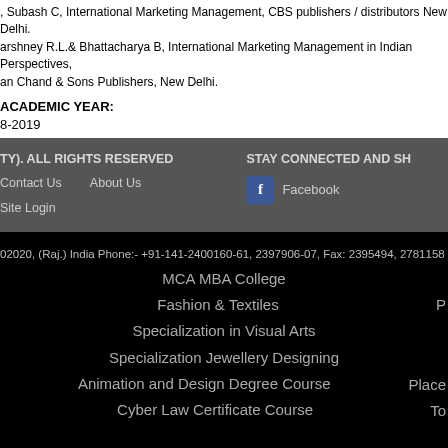, Subash C, International Marketing Management, CBS publishers / distributors New Delhi.
arshney R.L.& Bhattacharya B, International Marketing Management in Indian Perspectives, an Chand & Sons Publishers, New Delhi.
ACADEMIC YEAR:
8-2019
TY). ALL RIGHTS RESERVED   Contact Us   About Us   Site Login   STAY CONNECTED AND SH...   Facebook
02020, (Raj.) India Phone:- +91-141-2400160-61, 2397906-07, Fax: 2395494, 2781158
MCA MBA College
Fashion & Textiles
Specialization in Visual Arts
Specialization Jewellery Designing
Animation and Design Degree Course
Cyber Law Certificate Course